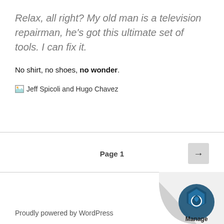Relax, all right? My old man is a television repairman, he's got this ultimate set of tools. I can fix it.
No shirt, no shoes, no wonder.
[Figure (photo): Broken image placeholder with alt text: Jeff Spicoli and Hugo Chavez]
Page 1
Proudly powered by WordPress